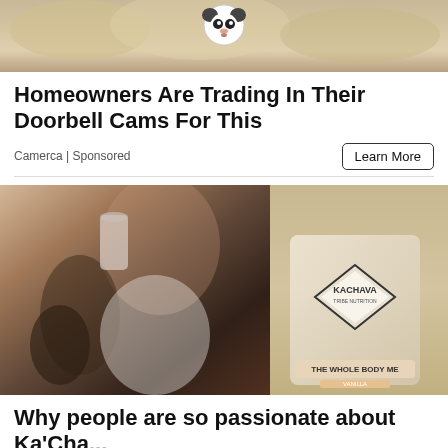[Figure (photo): Top portion of an advertisement image showing a doorbell camera or security device with panda-like markings on a textured surface]
Homeowners Are Trading In Their Doorbell Cams For This
Camerca | Sponsored
[Figure (photo): Woman with tattoos and long wavy blonde hair drinking from a cup and holding a bag of Ka'Chava The Whole Body Meal (vanilla flavor)]
Why people are so passionate about Ka'Cha...